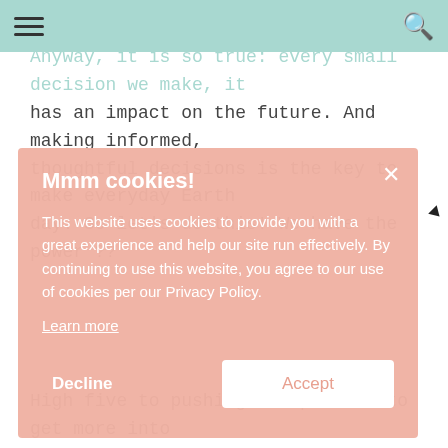Anyway, it is so true: every small decision we make, it has an impact on the future. And making informed, thoughtful decisions is the key to make everyday Earth day. So let's do this! We have the power ??
Mmm cookies!

This website uses cookies to provide you with a great experience and help our site run effectively. By continuing to use this website, you agree to our use of cookies per our Privacy Policy.

Learn more

Decline    Accept
High five to pushing our parents to get more into